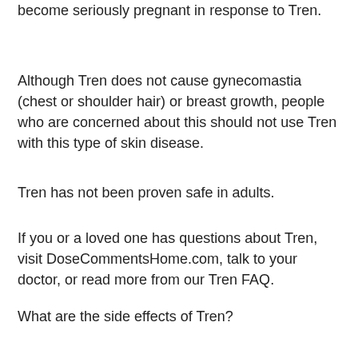become seriously pregnant in response to Tren.
Although Tren does not cause gynecomastia (chest or shoulder hair) or breast growth, people who are concerned about this should not use Tren with this type of skin disease.
Tren has not been proven safe in adults.
If you or a loved one has questions about Tren, visit DoseCommentsHome.com, talk to your doctor, or read more from our Tren FAQ.
What are the side effects of Tren?
Although many users have experienced only a minor amount of side effects from Tren compared with other steroids, there are some unusual side effects that are